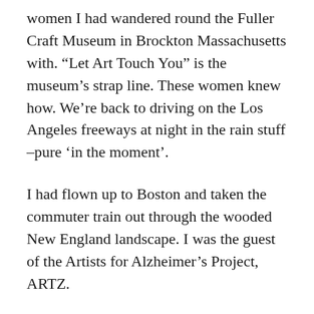women I had wandered round the Fuller Craft Museum in Brockton Massachusetts with. “Let Art Touch You” is the museum’s strap line. These women knew how. We’re back to driving on the Los Angeles freeways at night in the rain stuff –pure ‘in the moment’.
I had flown up to Boston and taken the commuter train out through the wooded New England landscape. I was the guest of the Artists for Alzheimer’s Project, ARTZ.
“I’m just an ordinary person”, introduced the woman sitting beside me in the gallery. And then she and her companions proceeded to give an extra-ordinary interpretation of the art